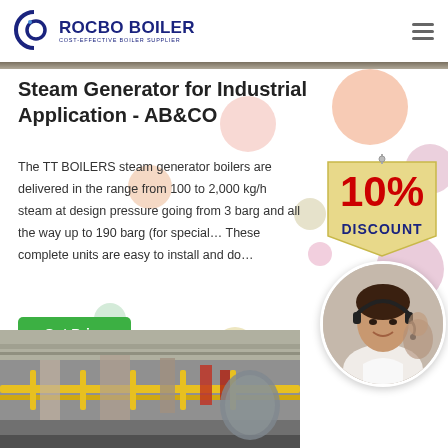ROCBO BOILER — COST-EFFECTIVE BOILER SUPPLIER
Steam Generator for Industrial Application - AB&CO
The TT BOILERS steam generator boilers are delivered in the range from 100 to 2,000 kg/h steam at design pressure going from 3 barg and all the way up to 190 barg (for special… These complete units are easy to install and do…
[Figure (photo): Customer service representative wearing a headset, smiling, with another operator in the background — circular crop]
[Figure (photo): Industrial boiler room interior with yellow railings, pipes and machinery]
[Figure (illustration): 10% DISCOUNT badge/sticker graphic overlay]